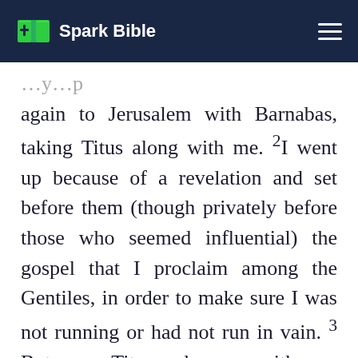Spark Bible
again to Jerusalem with Barnabas, taking Titus along with me. 2 I went up because of a revelation and set before them (though privately before those who seemed influential) the gospel that I proclaim among the Gentiles, in order to make sure I was not running or had not run in vain. 3 But even Titus, who was with me, was not forced to be circumcised, though he was a Greek. 4 Yet